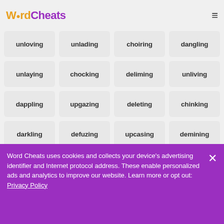Word Cheats
unloving
unlading
choiring
dangling
unlaying
chocking
deliming
unliving
dappling
upgazing
deleting
chinking
darkling
defuzing
upcasing
demining
deducing
untiring
defaming
clapping
unroping
defacing
coddling
unsaying
deciding
chinning
shirking
untoning
Word Cheats uses cookies and collects your device's advertising identifier and Internet protocol address. These enable personalized ads and analytics to improve our website. Learn more or opt out: Privacy Policy